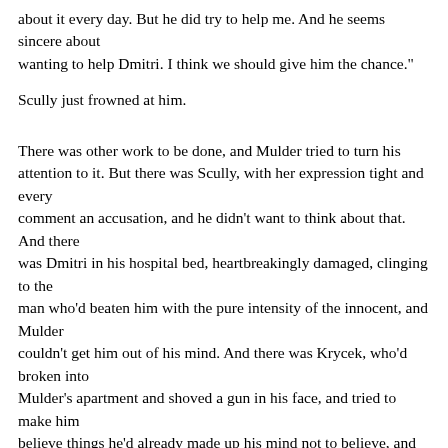about it every day. But he did try to help me. And he seems sincere about wanting to help Dmitri. I think we should give him the chance."
Scully just frowned at him.
There was other work to be done, and Mulder tried to turn his attention to it. But there was Scully, with her expression tight and every comment an accusation, and he didn't want to think about that. And there was Dmitri in his hospital bed, heartbreakingly damaged, clinging to the man who'd beaten him with the pure intensity of the innocent, and Mulder couldn't get him out of his mind. And there was Krycek, who'd broken into Mulder's apartment and shoved a gun in his face, and tried to make him believe things he'd already made up his mind not to believe, and kissed his cheek as though they were no longer enemies, as though somehow he wanted to make amends. And it made Mulder angry to think of all